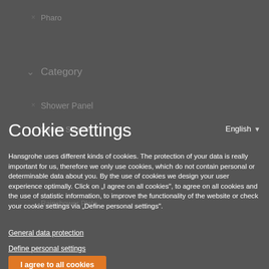Cookie settings
English
Hansgrohe uses different kinds of cookies. The protection of your data is really important for us, therefore we only use cookies, which do not contain personal or determinable data about you. By the use of cookies we design your user experience optimally. Click on „I agree on all cookies", to agree on all cookies and the use of statistic information, to improve the functionality of the website or check your cookie settings via „Define personal settings".
General data protection
Define personal settings
I agree to all cookies